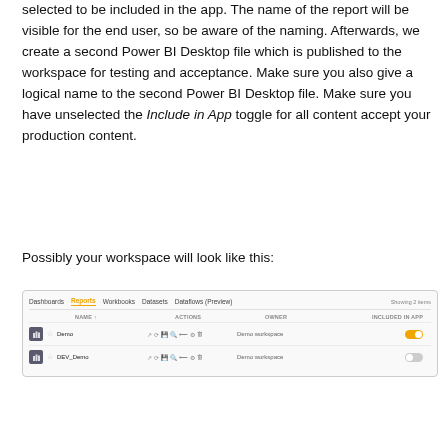selected to be included in the app. The name of the report will be visible for the end user, so be aware of the naming. Afterwards, we create a second Power BI Desktop file which is published to the workspace for testing and acceptance. Make sure you also give a logical name to the second Power BI Desktop file. Make sure you have unselected the Include in App toggle for all content accept your production content.
Possibly your workspace will look like this:
[Figure (screenshot): Power BI workspace screenshot showing Reports tab with two reports listed: 'Demo' with Include in App toggle ON (orange), and 'DEV_Demo' with Include in App toggle OFF (grey). Columns shown: Name, Actions, Owner (Demo workspace), Included in App.]